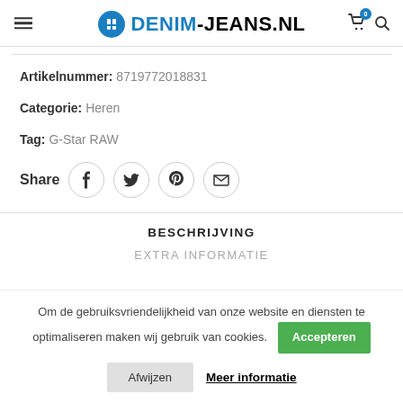DENIM-JEANS.NL
Artikelnummer: 8719772018831
Categorie: Heren
Tag: G-Star RAW
Share
BESCHRIJVING
EXTRA INFORMATIE
Om de gebruiksvriendelijkheid van onze website en diensten te optimaliseren maken wij gebruik van cookies.
Accepteren
Afwijzen
Meer informatie